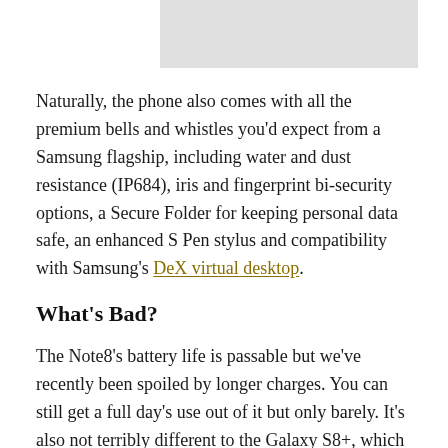[Figure (photo): Partial image/photo at top of page, mostly cropped, light gray rectangle visible]
Naturally, the phone also comes with all the premium bells and whistles you'd expect from a Samsung flagship, including water and dust resistance (IP684), iris and fingerprint bi-security options, a Secure Folder for keeping personal data safe, an enhanced S Pen stylus and compatibility with Samsung's DeX virtual desktop.
What's Bad?
The Note8's battery life is passable but we've recently been spoiled by longer charges. You can still get a full day's use out of it but only barely. It's also not terribly different to the Galaxy S8+, which is cheaper. (Although that phone does lack a stylus.) Some of the “premium” software features – like Live Message – are also a bit gimmicky.
Should You Buy It?